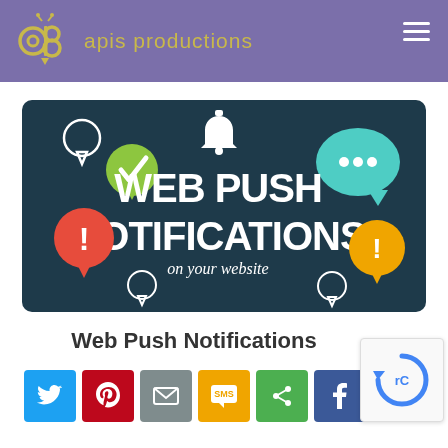apis productions
[Figure (illustration): Web Push Notifications promotional banner on dark teal background with colorful notification bubble icons (green checkmark, red exclamation, teal chat bubble, yellow exclamation) and text: WEB PUSH NOTIFICATIONS on your website]
Web Push Notifications
[Figure (other): Social share buttons row: Twitter (blue), Pinterest (red), Email (gray), SMS (yellow), Share (green), Facebook (dark blue)]